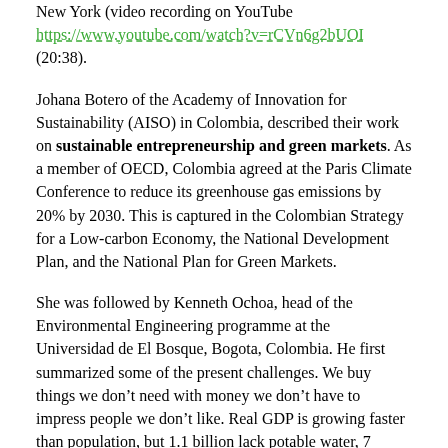New York (video recording on YouTube https://www.youtube.com/watch?v=rCVn6g2bUOI (20:38).
Johana Botero of the Academy of Innovation for Sustainability (AISO) in Colombia, described their work on sustainable entrepreneurship and green markets. As a member of OECD, Colombia agreed at the Paris Climate Conference to reduce its greenhouse gas emissions by 20% by 2030. This is captured in the Colombian Strategy for a Low-carbon Economy, the National Development Plan, and the National Plan for Green Markets.
She was followed by Kenneth Ochoa, head of the Environmental Engineering programme at the Universidad de El Bosque, Bogota, Colombia. He first summarized some of the present challenges. We buy things we don’t need with money we don’t have to impress people we don’t like. Real GDP is growing faster than population, but 1.1 billion lack potable water, 7 million are killed annually by air pollution, 4-6 million tonnes of plastic enter the ocean each year, 30% of food is wasted while 800 million go hungry and 500 million are underweight. Resource extraction is still rising, so how do we decouple economic growth from environmental impact? Since